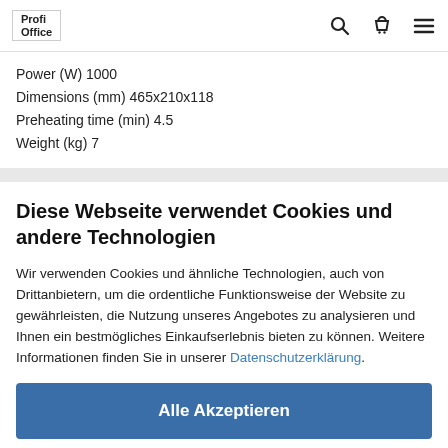ProfiOffice [logo] [search icon] [basket icon] [menu icon]
Power (W) 1000
Dimensions (mm) 465x210x118
Preheating time (min) 4.5
Weight (kg) 7
Diese Webseite verwendet Cookies und andere Technologien
Wir verwenden Cookies und ähnliche Technologien, auch von Drittanbietern, um die ordentliche Funktionsweise der Website zu gewährleisten, die Nutzung unseres Angebotes zu analysieren und Ihnen ein bestmögliches Einkaufserlebnis bieten zu können. Weitere Informationen finden Sie in unserer Datenschutzerklärung.
Alle Akzeptieren
Weitere Informationen